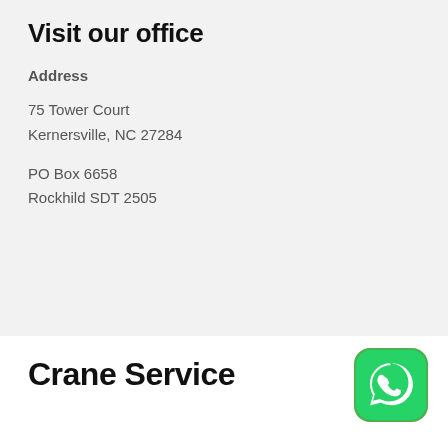Visit our office
Address
75 Tower Court
Kernersville, NC 27284
PO Box 6658
Rockhild SDT 2505
Crane Service
[Figure (logo): WhatsApp logo icon — green rounded square with white phone handset silhouette]